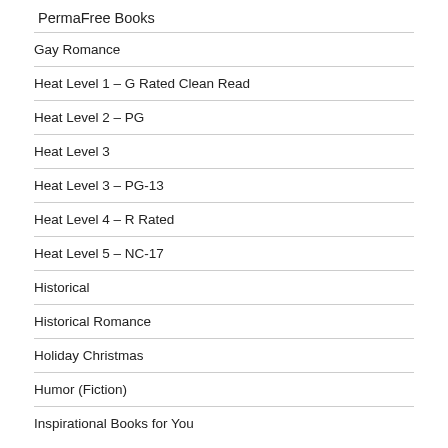PermaFree Books
Gay Romance
Heat Level 1 – G Rated Clean Read
Heat Level 2 – PG
Heat Level 3
Heat Level 3 – PG-13
Heat Level 4 – R Rated
Heat Level 5 – NC-17
Historical
Historical Romance
Holiday Christmas
Humor (Fiction)
Inspirational Books for You